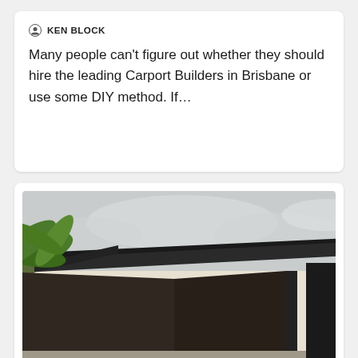KEN BLOCK
Many people can't figure out whether they should hire the leading Carport Builders in Brisbane or use some DIY method. If…
[Figure (photo): Photograph of a dark-roofed carport attached to a light-coloured house, with tropical palm and colourful plants on the left, taken from below looking up at the roofline against an overcast sky.]